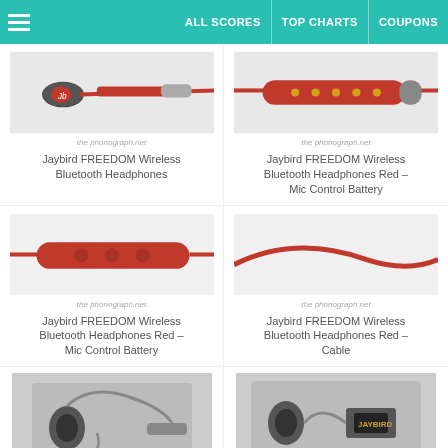ALL SCORES | TOP CHARTS | COUPONS
[Figure (photo): Jaybird FREEDOM Wireless Bluetooth Headphones - close up of earphone connector and cable]
Jaybird FREEDOM Wireless Bluetooth Headphones
[Figure (photo): Jaybird FREEDOM Wireless Bluetooth Headphones Red - inline remote with gold contacts]
Jaybird FREEDOM Wireless Bluetooth Headphones Red – Mic Control Battery
[Figure (photo): Jaybird FREEDOM Wireless Bluetooth Headphones Red - inline control module with buttons]
Jaybird FREEDOM Wireless Bluetooth Headphones Red – Mic Control Battery
[Figure (photo): Jaybird FREEDOM Wireless Bluetooth Headphones Red - cable only, curved]
Jaybird FREEDOM Wireless Bluetooth Headphones Red – Cable
[Figure (photo): Jaybird FREEDOM Wireless headphones with cable and connectors on grey background]
[Figure (photo): Jaybird FREEDOM Wireless headphones with charging connector on grey background]